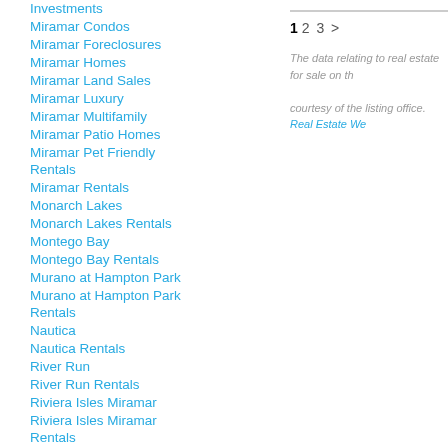Investments
Miramar Condos
Miramar Foreclosures
Miramar Homes
Miramar Land Sales
Miramar Luxury
Miramar Multifamily
Miramar Patio Homes
Miramar Pet Friendly Rentals
Miramar Rentals
Monarch Lakes
Monarch Lakes Rentals
Montego Bay
Montego Bay Rentals
Murano at Hampton Park
Murano at Hampton Park Rentals
Nautica
Nautica Rentals
River Run
River Run Rentals
Riviera Isles Miramar
Riviera Isles Miramar Rentals
Silver Falls
Silver Falls Rentals
Silver Shores
Silver Shores Rentals
Sunset Lakes
Sunset Lakes Rentals
Terrazas Vizcaya
1 2 3 >
The data relating to real estate for sale on th... courtesy of the listing office. Real Estate We...